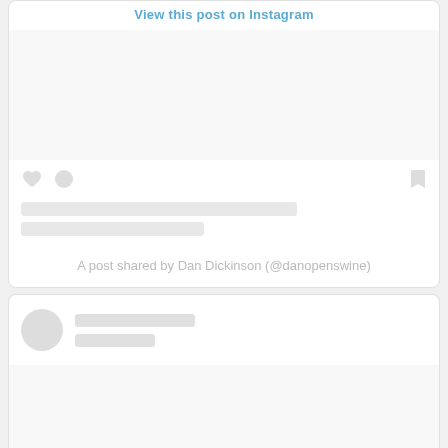View this post on Instagram
[Figure (screenshot): Instagram post placeholder with heart icon, comment icon, bookmark icon, and two gray loading bar lines]
A post shared by Dan Dickinson (@danopenswine)
[Figure (screenshot): Instagram post card with circular avatar placeholder, two gray profile name loading bars, and a large image placeholder area below]